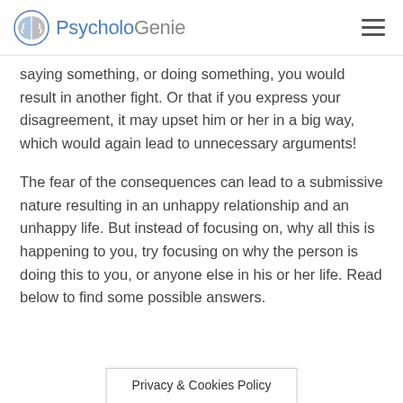PsycholoGenie
saying something, or doing something, you would result in another fight. Or that if you express your disagreement, it may upset him or her in a big way, which would again lead to unnecessary arguments!
The fear of the consequences can lead to a submissive nature resulting in an unhappy relationship and an unhappy life. But instead of focusing on, why all this is happening to you, try focusing on why the person is doing this to you, or anyone else in his or her life. Read below to find some possible answers.
Privacy & Cookies Policy